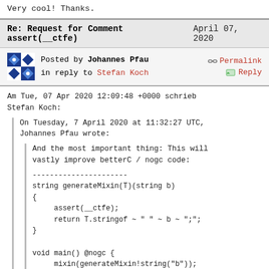Very cool! Thanks.
Re: Request for Comment assert(__ctfe)    April 07, 2020
Posted by Johannes Pfau    Permalink
in reply to Stefan Koch    Reply
Am Tue, 07 Apr 2020 12:09:48 +0000 schrieb
Stefan Koch:
On Tuesday, 7 April 2020 at 11:32:27 UTC,
Johannes Pfau wrote:
And the most important thing: This will
vastly improve betterC / nogc code:
----------------------
string generateMixin(T)(string b)
{
     assert(__ctfe);
     return T.stringof ~ " " ~ b ~ ";";
}

void main() @nogc {
     mixin(generateMixin!string("b"));